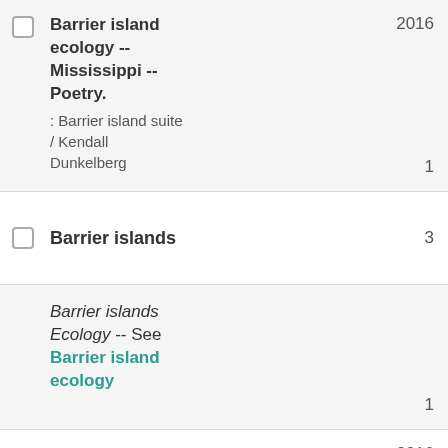Barrier island ecology -- Mississippi -- Poetry. : Barrier island suite / Kendall Dunkelberg
Barrier islands
Barrier islands Ecology -- See Barrier island ecology
Barrier islands -- Florida -- Gulf